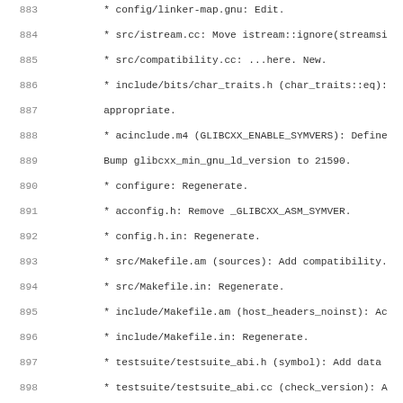883  * config/linker-map.gnu: Edit.
884  * src/istream.cc: Move istream::ignore(streamsi
885  * src/compatibility.cc: ...here. New.
886  * include/bits/char_traits.h (char_traits::eq):
887    appropriate.
888  * acinclude.m4 (GLIBCXX_ENABLE_SYMVERS): Define
889    Bump glibcxx_min_gnu_ld_version to 21590.
890  * configure: Regenerate.
891  * acconfig.h: Remove _GLIBCXX_ASM_SYMVER.
892  * config.h.in: Regenerate.
893  * src/Makefile.am (sources): Add compatibility.
894  * src/Makefile.in: Regenerate.
895  * include/Makefile.am (host_headers_noinst): Ac
896  * include/Makefile.in: Regenerate.
897  * testsuite/testsuite_abi.h (symbol): Add data
898  * testsuite/testsuite_abi.cc (check_version): A
899    GLIBCXX_3.4.6.  Remove deprecated versions. Do
900    version checking.
901
902 2005-06-15  Paolo Carlini  <pcarlini@suse.de>
903
904  * include/tr1/hashtable: Trivial formatting fix
905  * include/tr1/unordered_map: Likewise.
906  * include/tr1/unordered_set: Likewise.
907
908 2005-06-14  Tom Tromey  <tromey@redhat.com>
909
910    PR libgcj/19877:
911  * configure, aclocal.m4: Rebuilt.
912  * Makefile.in, include/Makefile.in, libmath/Mak
913    libsupc++/Makefile.in, po/Makefile.in, src/Make
914    testsuite/Makefile.in: Likewise.